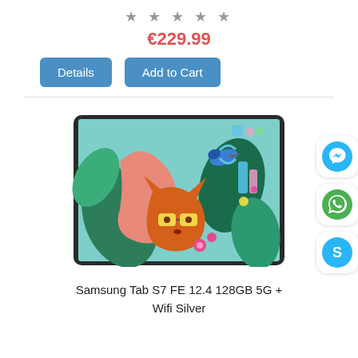★★★★★
€229.99
Details
Add to Cart
[Figure (photo): Samsung Tab S7 FE tablet showing colorful illustrated wallpaper on its screen, angled view on white background]
Samsung Tab S7 FE 12.4 128GB 5G + Wifi Silver
[Figure (other): Facebook Messenger icon - blue circle with white lightning bolt chat symbol]
[Figure (other): WhatsApp icon - green circle with white phone symbol]
[Figure (other): Skype icon - blue circle with white S letter]